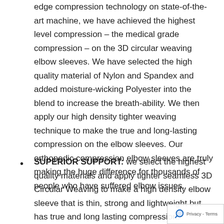edge compression technology on state-of-the-art machine, we have achieved the highest level compression – the medical grade compression – on the 3D circular weaving elbow sleeves. We have selected the high quality material of Nylon and Spandex and added moisture-wicking Polyester into the blend to increase the breath-ability. We then apply our high density tighter weaving technique to make the true and long-lasting compression on the elbow sleeves. Our orthopedic compression elbow sleeves are truly making the huge difference for thousands of people who have suffered elbow issues.
SUPERIOR SUPPORT: we select the highest quality materials and apply tighter seamless 3D Circular Weaving to make a high density elbow sleeve that is thin, strong and lightweight but has true and long lasting compression.